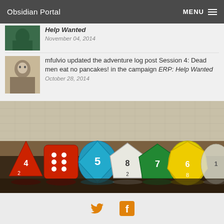Obsidian Portal  MENU
Help Wanted
November 04, 2014
mfulvio updated the adventure log post Session 4: Dead men eat no pancakes! in the campaign ERP: Help Wanted
October 28, 2014
[Figure (photo): Close-up photo of colorful polyhedral dice (D&D/RPG dice) arranged in a row on a wooden table with a grid map in the background. Dice include red d4, red d6, teal d8, white d10, white d8, green d10, yellow d12, and clear/translucent d20.]
[Figure (logo): Social media icons - Twitter bird icon (orange) and Facebook 'f' icon (orange) at bottom of page]